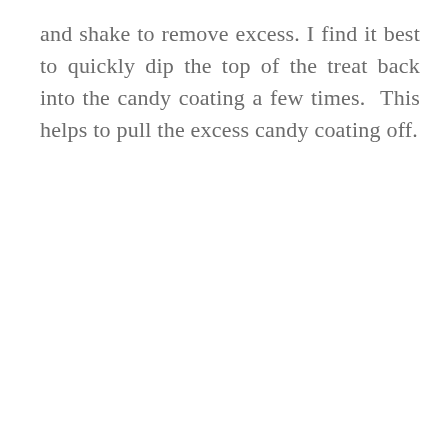and shake to remove excess. I find it best to quickly dip the top of the treat back into the candy coating a few times. This helps to pull the excess candy coating off.